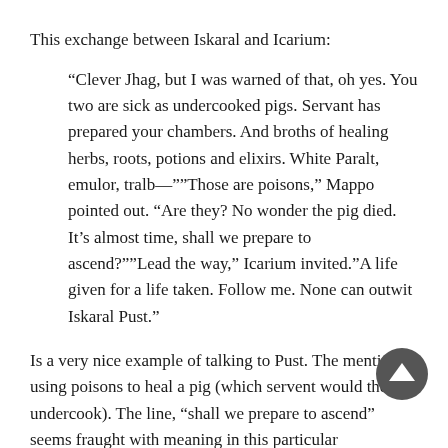This exchange between Iskaral and Icarium:
“Clever Jhag, but I was warned of that, oh yes. You two are sick as undercooked pigs. Servant has prepared your chambers. And broths of healing herbs, roots, potions and elixirs. White Paralt, emulor, tralb—””Those are poisons,” Mappo pointed out. “Are they? No wonder the pig died. It’s almost time, shall we prepare to ascend?””Lead the way,” Icarium invited.”A life given for a life taken. Follow me. None can outwit Iskaral Pust.”
Is a very nice example of talking to Pust. The mention of using poisons to heal a pig (which servent would then undercook). The line, “shall we prepare to ascend” seems fraught with meaning in this particular